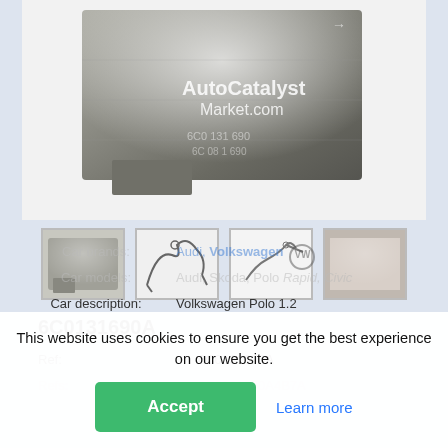[Figure (photo): Automotive catalytic converter part, metallic grey component with AutoCatalyst Market.com watermark]
[Figure (photo): Thumbnail 1: close-up of metallic catalytic converter block]
[Figure (photo): Thumbnail 2: line drawing / photo of exhaust pipe assembly]
[Figure (photo): Thumbnail 3: line drawing of exhaust component]
[Figure (photo): Thumbnail 4: close-up of metallic surface]
6C0131690A
Ref: 6C0131690A
Refs: 6C0131690A4B7A
Car brands: Audi, Volkswagen
Car models: Audi, Skoda, Volkswagen Polo
Car description: Volkswagen Polo 1.2
This website uses cookies to ensure you get the best experience on our website.
Accept
Learn more